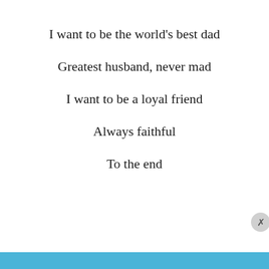I want to be the world's best dad
Greatest husband, never mad
I want to be a loyal friend
Always faithful
To the end
Privacy & Cookies: This site uses cookies. By continuing to use this website, you agree to their use.
To find out more, including how to control cookies, see here: Cookie Policy
Close and accept